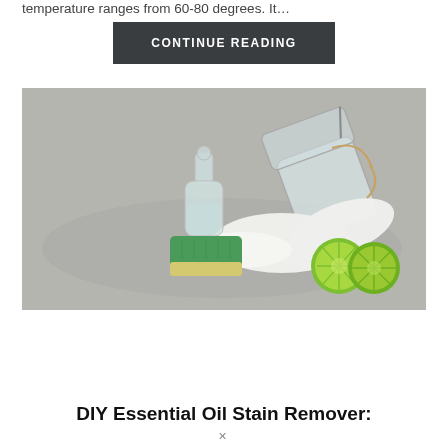temperature ranges from 60-80 degrees. It…
CONTINUE READING
[Figure (photo): Overhead view of natural cleaning ingredients on a grey surface: a glass bottle with liquid, an open glass jar with white powder spilling out, a green scrubbing sponge, and two halved limes.]
DIY Essential Oil Stain Remover:
×